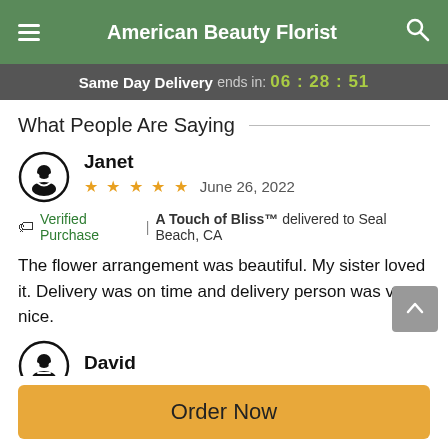American Beauty Florist
Same Day Delivery ends in: 06 : 28 : 51
What People Are Saying
Janet
★★★★★ June 26, 2022
🏷 Verified Purchase | A Touch of Bliss™ delivered to Seal Beach, CA
The flower arrangement was beautiful. My sister loved it. Delivery was on time and delivery person was very nice.
David